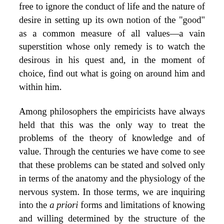free to ignore the conduct of life and the nature of desire in setting up its own notion of the "good" as a common measure of all values—a vain superstition whose only remedy is to watch the desirous in his quest and, in the moment of choice, find out what is going on around him and within him.
Among philosophers the empiricists have always held that this was the only way to treat the problems of the theory of knowledge and of value. Through the centuries we have come to see that these problems can be stated and solved only in terms of the anatomy and the physiology of the nervous system. In those terms, we are inquiring into the a priori forms and limitations of knowing and willing determined by the structure of the nervous system and by the mode of action of its elements. We ask two kinds of questions. Of universals, or ideas, we would know how nervous